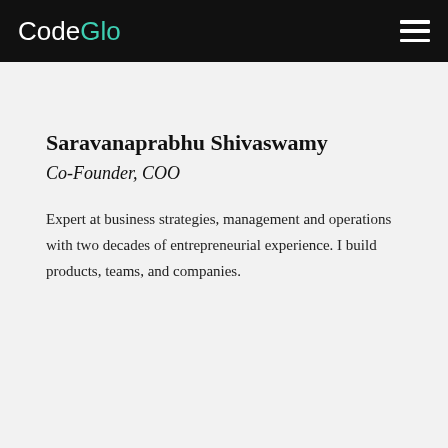CodeGlo
Saravanaprabhu Shivaswamy
Co-Founder, COO
Expert at business strategies, management and operations with two decades of entrepreneurial experience. I build products, teams, and companies.